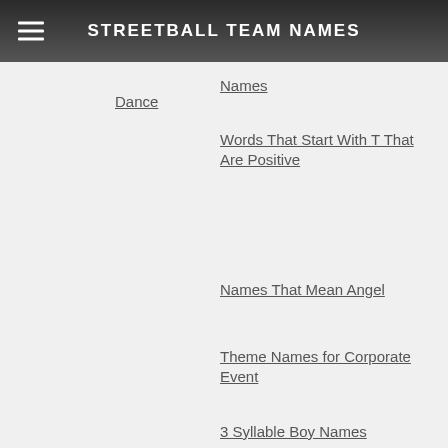STREETBALL TEAM NAMES
Dance
Names
Words That Start With T That Are Positive
Names That Mean Angel
Theme Names for Corporate Event
3 Syllable Boy Names